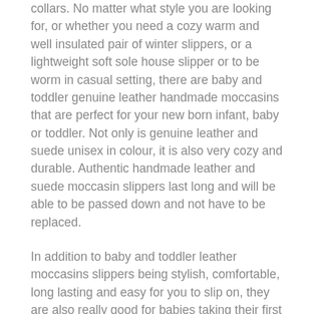collars. No matter what style you are looking for, or whether you need a cozy warm and well insulated pair of winter slippers, or a lightweight soft sole house slipper or to be worm in casual setting, there are baby and toddler genuine leather handmade moccasins that are perfect for your new born infant, baby or toddler. Not only is genuine leather and suede unisex in colour, it is also very cozy and durable. Authentic handmade leather and suede moccasin slippers last long and will be able to be passed down and not have to be replaced.
In addition to baby and toddler leather moccasins slippers being stylish, comfortable, long lasting and easy for you to slip on, they are also really good for babies taking their first steps. Infant and toddler moccasin slippers are slip on house shoes with flexible soft soles that are